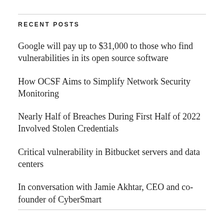RECENT POSTS
Google will pay up to $31,000 to those who find vulnerabilities in its open source software
How OCSF Aims to Simplify Network Security Monitoring
Nearly Half of Breaches During First Half of 2022 Involved Stolen Credentials
Critical vulnerability in Bitbucket servers and data centers
In conversation with Jamie Akhtar, CEO and co-founder of CyberSmart